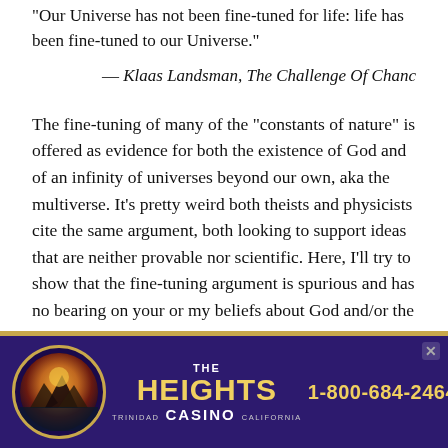"Our Universe has not been fine-tuned for life: life has been fine-tuned to our Universe."
— Klaas Landsman, The Challenge Of Chanc
The fine-tuning of many of the "constants of nature" is offered as evidence for both the existence of God and of an infinity of universes beyond our own, aka the multiverse. It's pretty weird both theists and physicists cite the same argument, both looking to support ideas that are neither provable nor scientific. Here, I'll try to show that the fine-tuning argument is spurious and has no bearing on your or my beliefs about God and/or the multiverse.
The constants of nature — there are currently between 19
[Figure (other): Advertisement banner for The Heights Casino, Trinidad California, with phone number 1-800-684-2464]